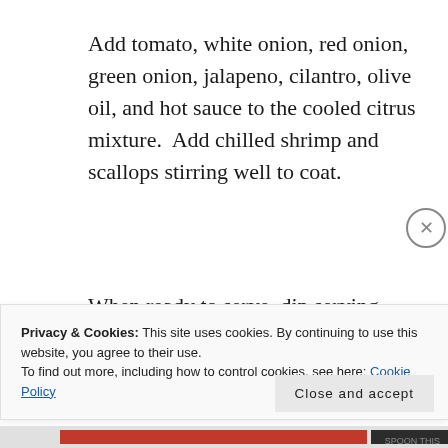Add tomato, white onion, red onion, green onion, jalapeno, cilantro, olive oil, and hot sauce to the cooled citrus mixture.  Add chilled shrimp and scallops stirring well to coat.
When ready to serve, dip serving glasses into lime juice and then into kosher salt.  Spoon diced
Privacy & Cookies: This site uses cookies. By continuing to use this website, you agree to their use.
To find out more, including how to control cookies, see here: Cookie Policy
Close and accept